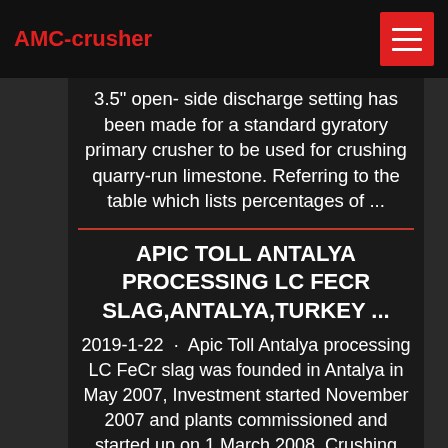AMC-crusher
3.5" open- side discharge setting has been made for a standard gyratory primary crusher to be used for crushing quarry-run limestone. Referring to the table which lists percentages of ...
APIC TOLL ANTALYA PROCESSING LC FECR SLAG,ANTALYA,TURKEY ...
2019-1-22 · Apic Toll Antalya processing LC FeCr slag was founded in Antalya in May 2007, Investment started November 2007 and plants commissioned and started up on 1 March 2008. Crushing plant capacity was 500 tph, the jigging ...Stone Crusher Plants - Stone Crushing PlantsCapacity of crusher plants is able to produce from 75 tons/hour to 1000 tons/hour. Crushing plants can produce custom designs on request. In